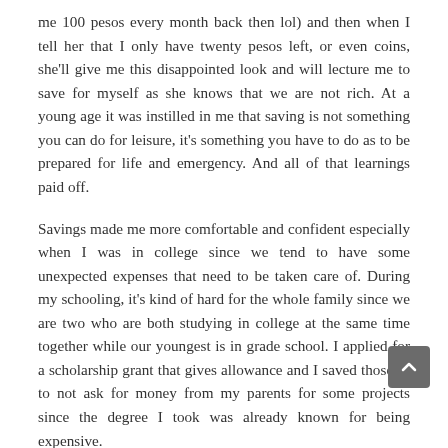me 100 pesos every month back then lol) and then when I tell her that I only have twenty pesos left, or even coins, she'll give me this disappointed look and will lecture me to save for myself as she knows that we are not rich. At a young age it was instilled in me that saving is not something you can do for leisure, it's something you have to do as to be prepared for life and emergency. And all of that learnings paid off.
Savings made me more comfortable and confident especially when I was in college since we tend to have some unexpected expenses that need to be taken care of. During my schooling, it's kind of hard for the whole family since we are two who are both studying in college at the same time together while our youngest is in grade school. I applied for a scholarship grant that gives allowance and I saved those as to not ask for money from my parents for some projects since the degree I took was already known for being expensive.
If I am being honest right now I'm not sure if it's a good anymore, well at least part of it. Saving is really helpful and a must